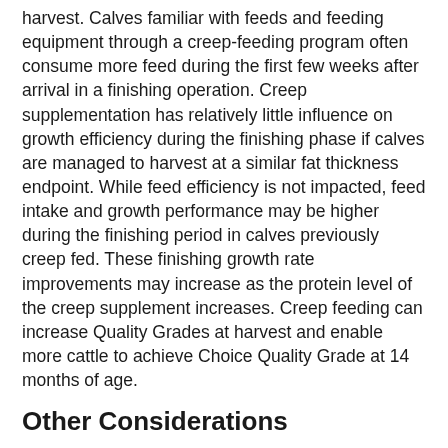harvest. Calves familiar with feeds and feeding equipment through a creep-feeding program often consume more feed during the first few weeks after arrival in a finishing operation. Creep supplementation has relatively little influence on growth efficiency during the finishing phase if calves are managed to harvest at a similar fat thickness endpoint. While feed efficiency is not impacted, feed intake and growth performance may be higher during the finishing period in calves previously creep fed. These finishing growth rate improvements may increase as the protein level of the creep supplement increases. Creep feeding can increase Quality Grades at harvest and enable more cattle to achieve Choice Quality Grade at 14 months of age.
Other Considerations
Profitability of creep feeding depends largely on current market conditions. Typically, creep feeding is more